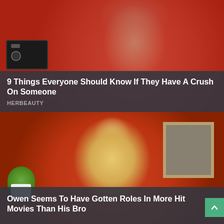[Figure (photo): Woman with red hair making an uncomfortable or surprised expression, sitting in front of a red background with a clapperboard/camera visible on the left]
9 Things Everyone Should Know If They Have A Crush On Someone
HERBEAUTY
[Figure (photo): Blonde man in a red jacket with white stripes and dark undershirt making a surprised expression, standing in an indoor setting with a picture frame and plant visible in the background]
Owen Seems To Have Gotten Roles In More Hit Movies Than His Bro